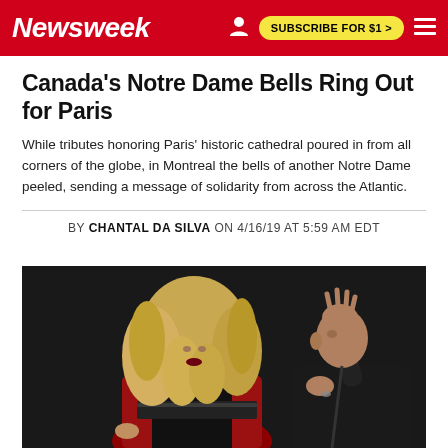Newsweek | SUBSCRIBE FOR $1 >
Canada's Notre Dame Bells Ring Out for Paris
While tributes honoring Paris' historic cathedral poured in from all corners of the globe, in Montreal the bells of another Notre Dame peeled, sending a message of solidarity from across the Atlantic.
BY CHANTAL DA SILVA ON 4/16/19 AT 5:59 AM EDT
[Figure (photo): A woman with long blonde curly hair wearing a red jacket over a black outfit, and a bald man in a black outfit, posed against a dark background.]